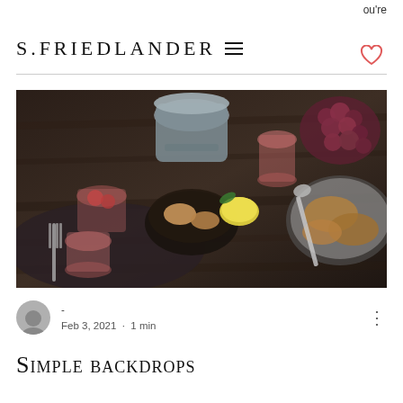ou're
S. FRIEDLANDER
[Figure (photo): Overhead food photography on a dark rustic wooden table showing pink glasses, bread rolls in a dark bowl, a lemon, grapes, a metal pitcher, and a serving dish with cooked chicken. Dark linen napkin and silverware visible.]
- Feb 3, 2021 · 1 min
Simple backdrops